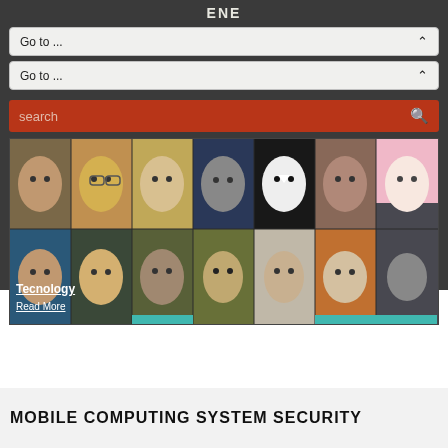ENE
Go to ...
Go to ...
search
[Figure (photo): Grid of finger puppet or toy figures styled to resemble various famous people, arranged in two rows of seven]
Tecnology
Read More
MOBILE COMPUTING SYSTEM SECURITY